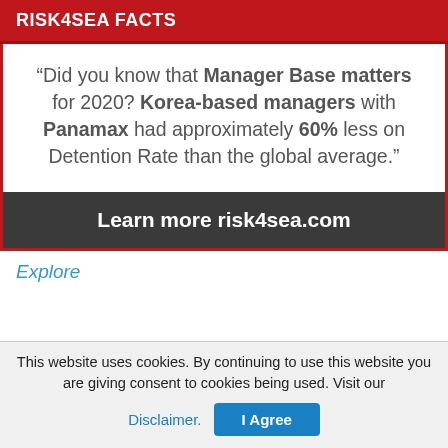RISK4SEA FACTS
“Did you know that Manager Base matters for 2020? Korea-based managers with Panamax had approximately 60% less on Detention Rate than the global average.”
Learn more risk4sea.com
Explore
This website uses cookies. By continuing to use this website you are giving consent to cookies being used. Visit our Disclaimer. I Agree